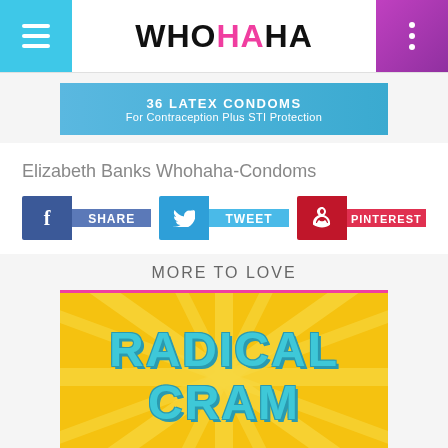WHOHAHA
[Figure (photo): Banner advertisement showing 36 Latex Condoms for Contraception Plus STI Protection on a blue background]
Elizabeth Banks Whohaha-Condoms
[Figure (infographic): Social sharing buttons: Facebook SHARE, Twitter TWEET, Pinterest PINTEREST]
MORE TO LOVE
[Figure (illustration): Radical Cram graphic with large teal text on a yellow sunburst background]